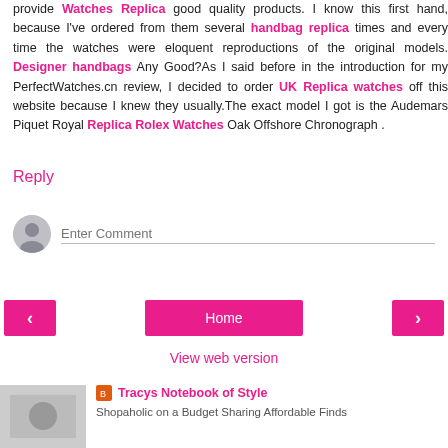provide Watches Replica good quality products. I know this first hand, because I've ordered from them several handbag replica times and every time the watches were eloquent reproductions of the original models. Designer handbags Any Good?As I said before in the introduction for my PerfectWatches.cn review, I decided to order UK Replica watches off this website because I knew they usually.The exact model I got is the Audemars Piquet Royal Replica Rolex Watches Oak Offshore Chronograph .
Reply
Enter Comment
Home
View web version
Tracys Notebook of Style
Shopaholic on a Budget Sharing Affordable Finds